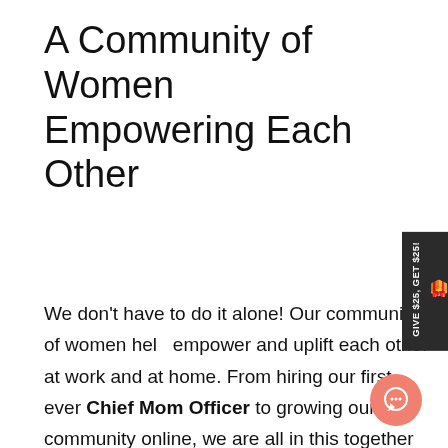A Community of Women Empowering Each Other
We don't have to do it alone! Our community of women help empower and uplift each other at work and at home. From hiring our first ever Chief Mom Officer to growing our community online, we are all in this together and can't to see what the future holds.